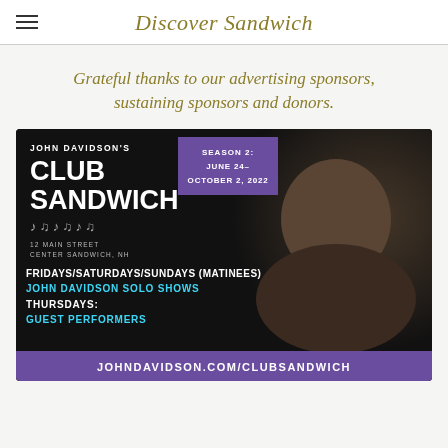Discover Sandwich
Grateful thanks to our advertising sponsors, sustaining sponsors and donors.
[Figure (photo): Advertisement for John Davidson's Club Sandwich. Season 2: June 24 – October 2, 2022. 12 Main Street, Center Sandwich, NH. Fridays/Saturdays/Sundays (Matinees): John Davidson Solo Shows. Thursdays: Guest Performers. johndavidson.com/clubsandwich. Features a photo of John Davidson playing guitar.]